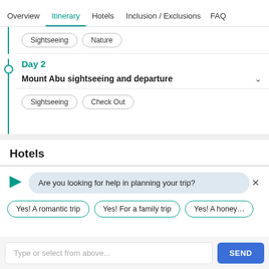Overview  Itinerary  Hotels  Inclusion / Exclusions  FAQ
Sightseeing  Nature
Day 2
Mount Abu sightseeing and departure
Sightseeing  Check Out
Hotels
Are you looking for help in planning your trip?
Yes! A romantic trip
Yes! For a family trip
Yes! A honey...
Type or select from above...
SEND